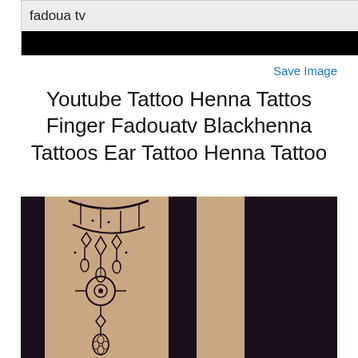[Figure (screenshot): Top portion of a video/image showing 'fadoua tv' text on a light background, with a black bar below it]
Save Image
Youtube Tattoo Henna Tattos Finger Fadouatv Blackhenna Tattoos Ear Tattoo Henna Tattoo
[Figure (photo): Photo of a person's neck/chest area with an elaborate chandelier-style henna or tattoo design in dark ink, extending downward]